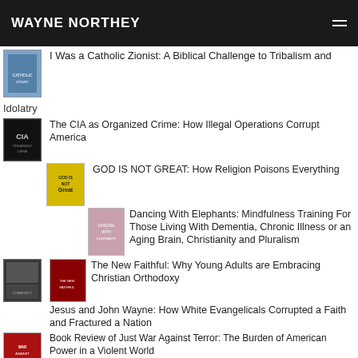WAYNE NORTHEY
I Was a Catholic Zionist: A Biblical Challenge to Tribalism and Idolatry
The CIA as Organized Crime: How Illegal Operations Corrupt America
GOD IS NOT GREAT: How Religion Poisons Everything
Dancing With Elephants: Mindfulness Training For Those Living With Dementia, Chronic Illness or an Aging Brain, Christianity and Pluralism
The New Faithful: Why Young Adults are Embracing Christian Orthodoxy
Jesus and John Wayne: How White Evangelicals Corrupted a Faith and Fractured a Nation
Book Review of Just War Against Terror: The Burden of American Power in a Violent World
Writing Straight with Crooked Lines: A Memoir
Baseless: My Search for Secrets in the Ruins of the Freedom of Information Act
Book Review of Dispelling The Clouds